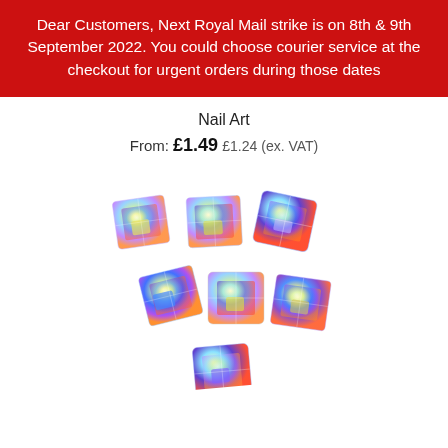Dear Customers, Next Royal Mail strike is on 8th & 9th September 2022. You could choose courier service at the checkout for urgent orders during those dates
Nail Art
From: £1.49 £1.24 (ex. VAT)
[Figure (photo): Multiple iridescent/AB (aurora borealis) square flat-back rhinestone nail art gems scattered on a white background, showing rainbow-colored faceted crystal appearance]